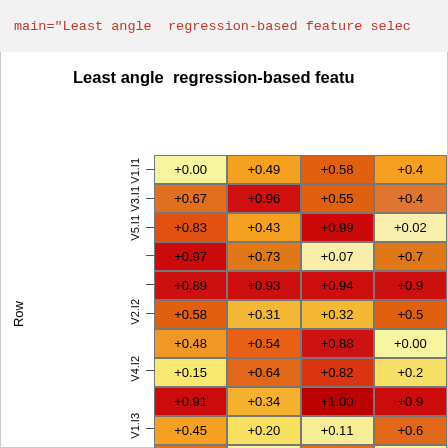main="Least angle  regression-based feature selec
Least angle  regression-based featu
[Figure (other): Heatmap showing Least angle regression-based feature selection scores. Rows labeled V1.I1, V3.I1, V5.I1, V2.I2, V4.I2, V1.I3, and partial row visible. Columns show 4 visible values. Values range from 0.00 to 1.00, colored from yellow (low) to red (high).]